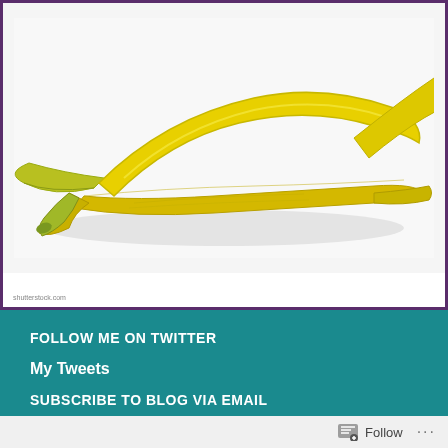[Figure (photo): A yellow banana peel lying flat on a white background, with green tips, spread open with peels going in different directions.]
shutterstock.com
FOLLOW ME ON TWITTER
My Tweets
SUBSCRIBE TO BLOG VIA EMAIL
Enter your email address to subscribe to this blog and receive notifications of new posts by